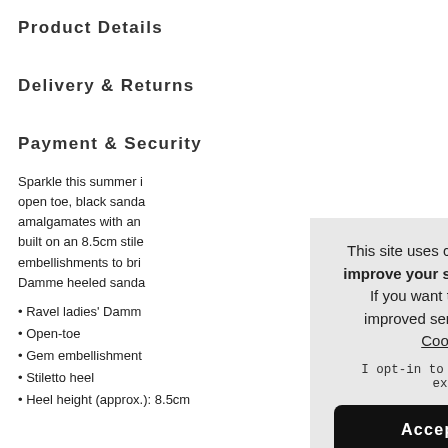Product Details
Delivery & Returns
Payment & Security
Sparkle this summer in this Ravel open toe, black sandal. This style amalgamates with an... built on an 8.5cm stile... embellishments to bri... Damme heeled sanda...
Ravel ladies' Damm...
Open-toe
Gem embellishment...
Stiletto heel
Heel height (approx.): 8.5cm
This site uses cookies to provide and improve your shopping experience. If you want to benefit from this improved service, please opt-in. Cookies Page. I opt-in to a better browsing experience Accept Cookies